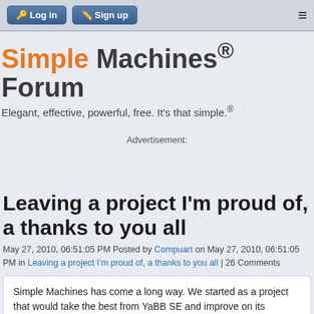Log in | Sign up
Simple Machines® Forum
Elegant, effective, powerful, free. It's that simple.®
Advertisement:
Leaving a project I'm proud of, a thanks to you all
May 27, 2010, 06:51:05 PM Posted by Compuart on May 27, 2010, 06:51:05 PM in Leaving a project I'm proud of, a thanks to you all | 26 Comments
Simple Machines has come a long way. We started as a project that would take the best from YaBB SE and improve on its weaknesses. I think we succeeded and even exceeded our